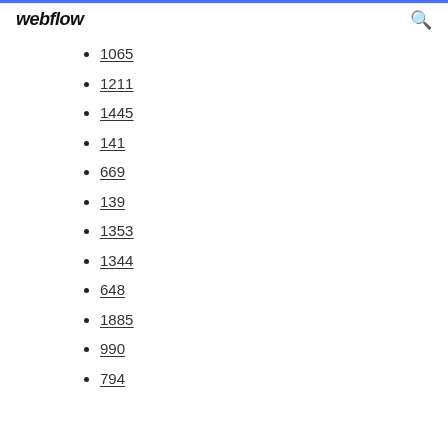webflow
1065
1211
1445
141
669
139
1353
1344
648
1885
990
794